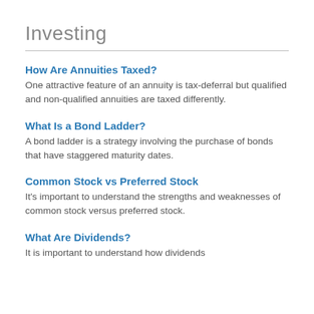Investing
How Are Annuities Taxed?
One attractive feature of an annuity is tax-deferral but qualified and non-qualified annuities are taxed differently.
What Is a Bond Ladder?
A bond ladder is a strategy involving the purchase of bonds that have staggered maturity dates.
Common Stock vs Preferred Stock
It's important to understand the strengths and weaknesses of common stock versus preferred stock.
What Are Dividends?
It is important to understand how dividends